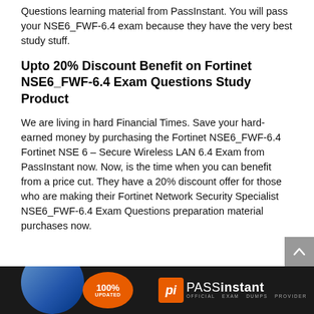Questions learning material from PassInstant. You will pass your NSE6_FWF-6.4 exam because they have the very best study stuff.
Upto 20% Discount Benefit on Fortinet NSE6_FWF-6.4 Exam Questions Study Product
We are living in hard Financial Times. Save your hard-earned money by purchasing the Fortinet NSE6_FWF-6.4 Fortinet NSE 6 – Secure Wireless LAN 6.4 Exam from PassInstant now. Now, is the time when you can benefit from a price cut. They have a 20% discount offer for those who are making their Fortinet Network Security Specialist NSE6_FWF-6.4 Exam Questions preparation material purchases now.
[Figure (logo): PassInstant banner with 100% Updated badge and logo on dark background]